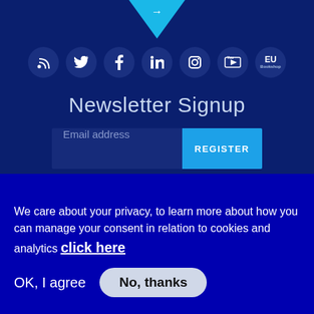[Figure (illustration): Cyan downward-pointing chevron/arrow on dark blue background]
[Figure (illustration): Row of social media icon circles: RSS, Twitter, Facebook, LinkedIn, Instagram, YouTube, EU Bookshop]
Newsletter Signup
Email address
REGISTER
We care about your privacy, to learn more about how you can manage your consent in relation to cookies and analytics click here
OK, I agree
No, thanks